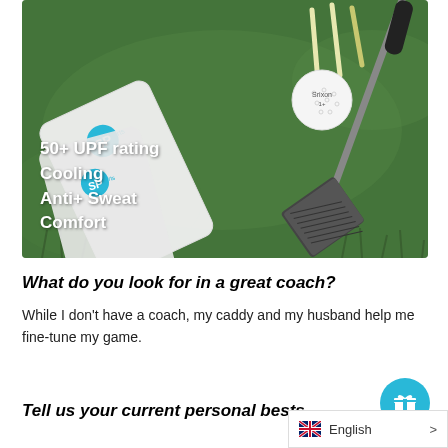[Figure (photo): Golf equipment on green grass: white SPorts branded arm sleeves/towel, a Srixon golf ball, golf tees, and a golf iron club. Text overlay reads: '50+ UPF rating / Cooling / Anti+ Sweat / Comfort']
What do you look for in a great coach?
While I don't have a coach, my caddy and my husband help me fine-tune my game.
Tell us your current personal bests